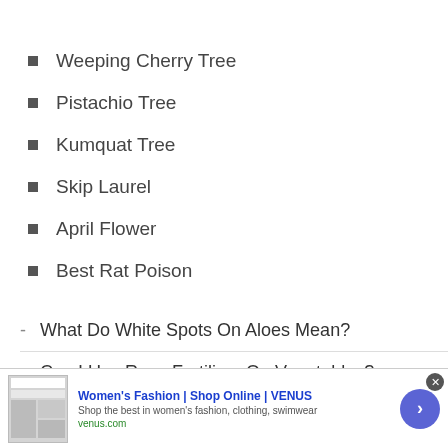Weeping Cherry Tree
Pistachio Tree
Kumquat Tree
Skip Laurel
April Flower
Best Rat Poison
- What Do White Spots On Aloes Mean?
- Can I Use Rose Fertilizer On Vegetables?
[Figure (screenshot): Advertisement banner: Women's Fashion | Shop Online | VENUS. Shows website screenshot, tagline 'Shop the best in women's fashion, clothing, swimwear', URL venus.com, and a right-arrow button.]